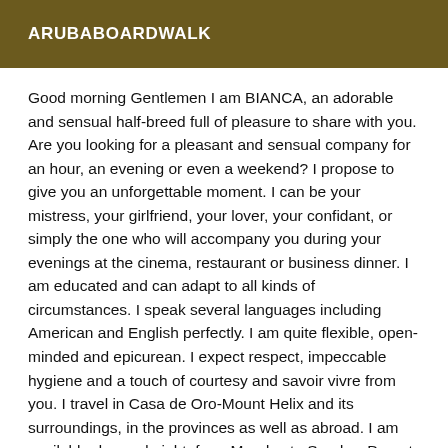ARUBABOARDWALK
Good morning Gentlemen I am BIANCA, an adorable and sensual half-breed full of pleasure to share with you. Are you looking for a pleasant and sensual company for an hour, an evening or even a weekend? I propose to give you an unforgettable moment. I can be your mistress, your girlfriend, your lover, your confidant, or simply the one who will accompany you during your evenings at the cinema, restaurant or business dinner. I am educated and can adapt to all kinds of circumstances. I speak several languages including American and English perfectly. I am quite flexible, open-minded and epicurean. I expect respect, impeccable hygiene and a touch of courtesy and savoir vivre from you. I travel in Casa de Oro-Mount Helix and its surroundings, in the provinces as well as abroad. I am available day and night, from Monday to Sunday. Do not hesitate to contact me ONLY by phone (not in